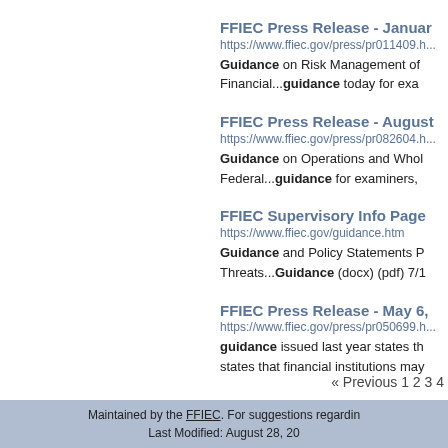FFIEC Press Release - January...
https://www.ffiec.gov/press/pr011409.h...
Guidance on Risk Management of... Financial...guidance today for exa...
FFIEC Press Release - August...
https://www.ffiec.gov/press/pr082604.h...
Guidance on Operations and Whol... Federal...guidance for examiners,...
FFIEC Supervisory Info Page
https://www.ffiec.gov/guidance.htm
Guidance and Policy Statements... Threats...Guidance (docx) (pdf) 7/1...
FFIEC Press Release - May 6,...
https://www.ffiec.gov/press/pr050699.h...
guidance issued last year states th... states that financial institutions may...
« Previous 1 2 3 4
Maintained by the FFIEC. For suggestions regardin... Last Modified: August 28, 20...